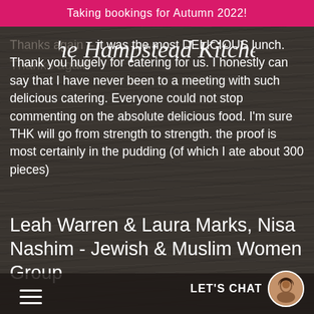Taking bookings for Autumn 2022!
[Figure (logo): The Hampstead Kitchen cursive script logo in white on dark wood background]
Thanks again – it was the most DELICIOUS lunch. Thank you hugely for catering for us. I honestly can say that I have never been to a meeting with such delicious catering. Everyone could not stop commenting on the absolute delicious food. I'm sure THK will go from strength to strength. the proof is most certainly in the pudding (of which I ate about 300 pieces)
Leah Warren & Laura Marks, Nisa Nashim - Jewish & Muslim Women Group
LET'S CHAT